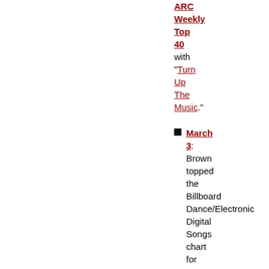ARC Weekly Top 40 with "Turn Up The Music."
March 3: Brown topped the Billboard Dance/Electronic Digital Songs chart for 1 week with "Turn Up The Music."
March